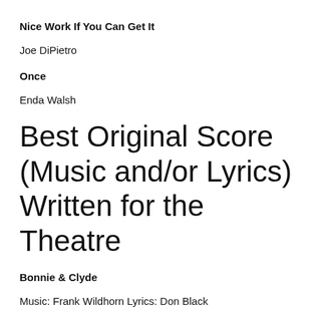Nice Work If You Can Get It
Joe DiPietro
Once
Enda Walsh
Best Original Score (Music and/or Lyrics) Written for the Theatre
Bonnie & Clyde
Music: Frank Wildhorn Lyrics: Don Black